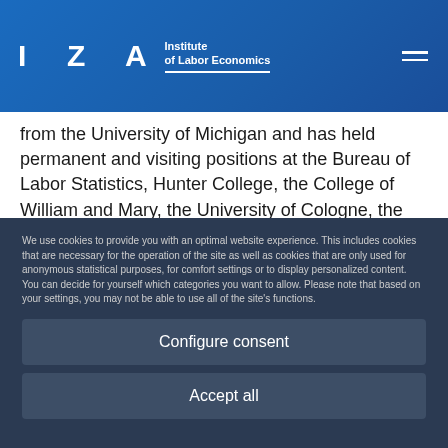IZA Institute of Labor Economics
from the University of Michigan and has held permanent and visiting positions at the Bureau of Labor Statistics, Hunter College, the College of William and Mary, the University of Cologne, the CUNY Graduate Center, Princeton University, and Bonn University, among others. He has research interests in applied microeconomics in areas as diverse as immigration, education, health, terrorism, and quantitative medieval history. He was the first recipient of the W.E. Upjohn Prize for his dissertation and has been honored with a fellowship from the Alexander von Humboldt
We use cookies to provide you with an optimal website experience. This includes cookies that are necessary for the operation of the site as well as cookies that are only used for anonymous statistical purposes, for comfort settings or to display personalized content. You can decide for yourself which categories you want to allow. Please note that based on your settings, you may not be able to use all of the site's functions.
Configure consent
Accept all